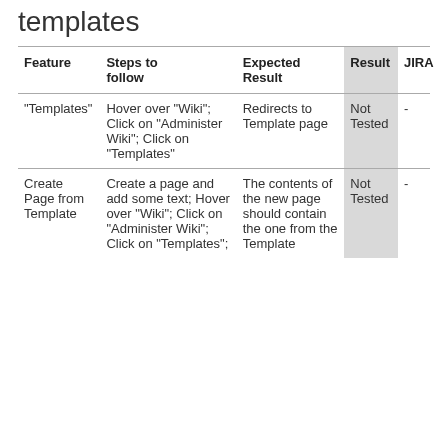templates
| Feature | Steps to follow | Expected Result | Result | JIRA |
| --- | --- | --- | --- | --- |
| "Templates" | Hover over "Wiki"; Click on "Administer Wiki"; Click on "Templates" | Redirects to Template page | Not Tested | - |
| Create Page from Template | Create a page and add some text; Hover over "Wiki"; Click on "Administer Wiki"; Click on "Templates"; | The contents of the new page should contain the one from the Template | Not Tested | - |